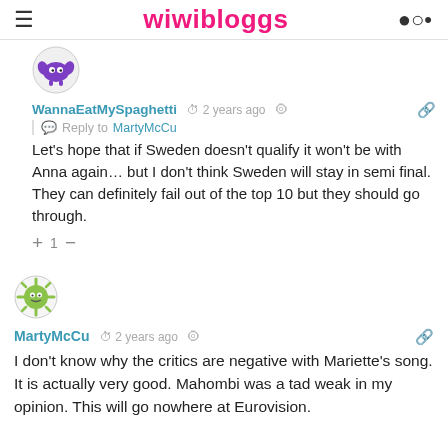wiwibloggs
[Figure (illustration): User avatar for WannaEatMySpaghetti: purple cartoon monster icon in a circle]
WannaEatMySpaghetti  2 years ago   Reply to MartyMcCu
Let's hope that if Sweden doesn't qualify it won't be with Anna again… but I don't think Sweden will stay in semi final. They can definitely fail out of the top 10 but they should go through.
+ 1 −
[Figure (illustration): User avatar for MartyMcCu: green cartoon sun/monster icon in a circle]
MartyMcCu  2 years ago
I don't know why the critics are negative with Mariette's song. It is actually very good. Mahombi was a tad weak in my opinion. This will go nowhere at Eurovision.